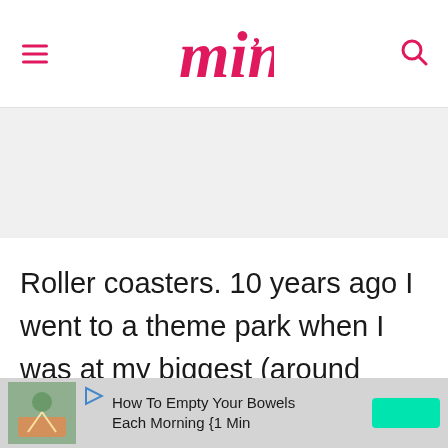Ming (logo) with hamburger menu and search icon
[Figure (other): Gray advertisement banner placeholder area]
Roller coasters. 10 years ago I went to a theme park when I was at my biggest (around 350). I had to do the walk of shame on a few roller
[Figure (other): Bottom advertisement banner: How To Empty Your Bowels Each Morning {1 Min, with illustrative image and green button]